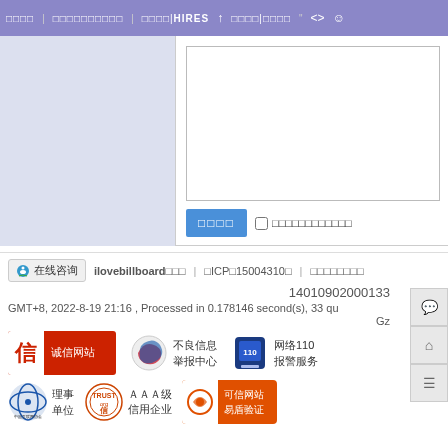□□□□ | □□□□□□□□□□ | □□□□|HIRES ↑ □□□□|□□□□ " <> ☺
[Figure (screenshot): Left panel: light blue-grey blank panel. Right panel: white textarea with border, and a blue submit button labeled □□□□ with a checkbox row labeled □□□□□□□□□□□□□]
🔵 在线咨询 | ilovebillboard□□□ | □ICP□15004310□ | □□□□□□□□
14010902000133
GMT+8, 2022-8-19 21:16 , Processed in 0.178146 second(s), 33 qu
Gz
[Figure (logo): 诚信网站 badge: red background with white 信 character on left, white text 诚信网站 on right]
不良信息
举报中心
网络110
报警服务
[Figure (logo): 中国互联网协会 CNNIC logo with text 理事单位]
理事
单位
[Figure (logo): AAA级信用企业 trust badge circular stamp]
ＡＡＡ级
信用企业
[Figure (logo): 可信网站 易盾验证 badge in orange-red]